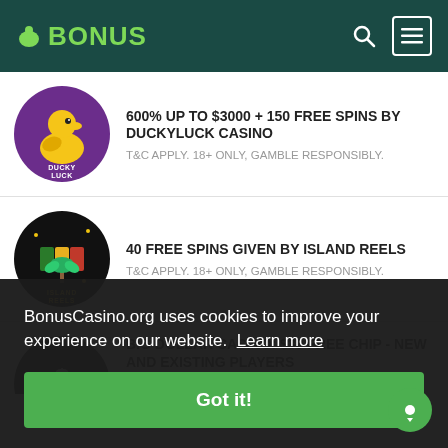BONUS
600% UP TO $3000 + 150 FREE SPINS BY DUCKYLUCK CASINO. T&C APPLY. 18+ ONLY, GAMBLE RESPONSIBLY.
40 FREE SPINS GIVEN BY ISLAND REELS. T&C APPLY. 18+ ONLY, GAMBLE RESPONSIBLY.
BIG DOLLAR CASINO: $30 FREE CHIP - NEW AND EXISTING PLAYERS
BonusCasino.org uses cookies to improve your experience on our website. Learn more
Got it!